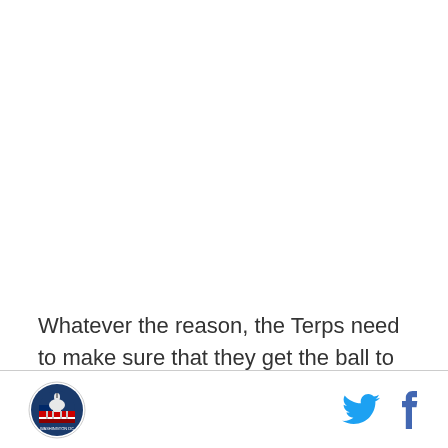Whatever the reason, the Terps need to make sure that they get the ball to their best offensive player who also happens to be incredibly efficient. It's a good blueprint for a victory and it's a pretty easy one to identify. If they
Washington DC logo | Twitter icon | Facebook icon